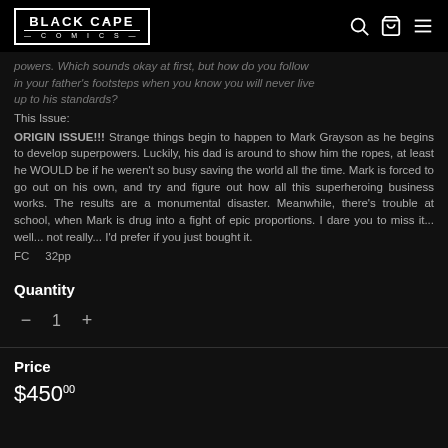BLACK CAPE COMICS
powers. Which sounds okay at first, but how do you follow in your father's footsteps when you know you will never live up to his standards?
This Issue:
ORIGIN ISSUE!!!  Strange things begin to happen to Mark Grayson as he begins to develop superpowers.  Luckily, his dad is around to show him the ropes, at least he WOULD be if he weren't so busy saving the world all the time.  Mark is forced to go out on his own, and try and figure out how all this superheroing business works.  The results are a monumental disaster.  Meanwhile, there's trouble at school, when Mark is drug into a fight of epic proportions.  I dare you to miss it... well... not really... I'd prefer if you just bought it.
FC    32pp
Quantity
− 1 +
Price
$450.00